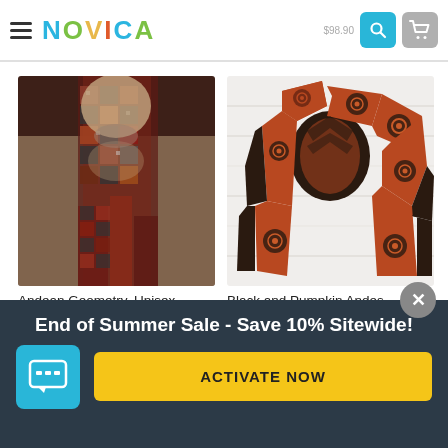NOVICA
[Figure (photo): Man wearing a multicolor dark red/green/black geometric patterned alpaca wool scarf, dressed in a beige sweater]
[Figure (photo): Black and pumpkin/rust colored knit scarf with circular target motifs, laid flat on white wooden background]
Andean Geometry, Unisex 100% Alpaca Wool Earth
Black and Pumpkin Andes, Black and Pumpkin Knit
End of Summer Sale - Save 10% Sitewide!
ACTIVATE NOW